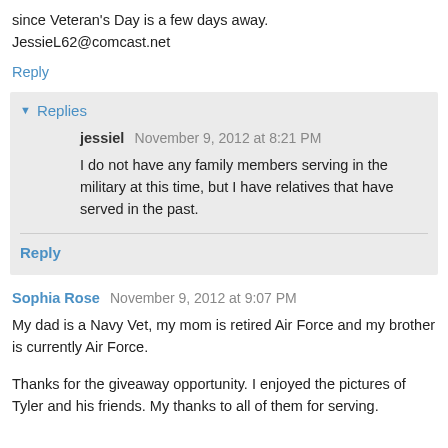since Veteran's Day is a few days away. JessieL62@comcast.net
Reply
Replies
jessiel  November 9, 2012 at 8:21 PM
I do not have any family members serving in the military at this time, but I have relatives that have served in the past.
Reply
Sophia Rose  November 9, 2012 at 9:07 PM
My dad is a Navy Vet, my mom is retired Air Force and my brother is currently Air Force.
Thanks for the giveaway opportunity. I enjoyed the pictures of Tyler and his friends. My thanks to all of them for serving.